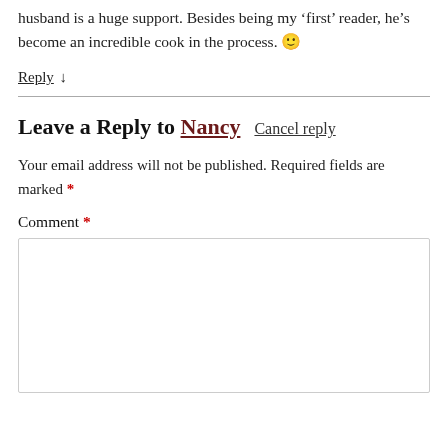husband is a huge support. Besides being my ‘first’ reader, he’s become an incredible cook in the process. 🙂
Reply ↓
Leave a Reply to Nancy   Cancel reply
Your email address will not be published. Required fields are marked *
Comment *